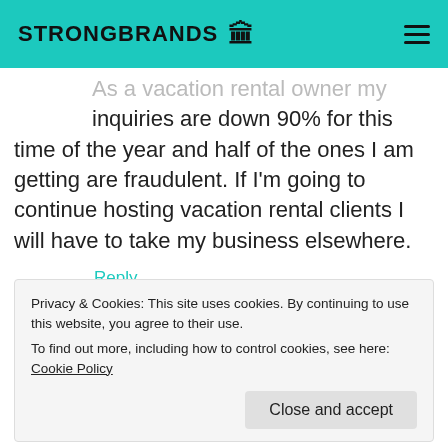STRONGBRANDS
As a vacation rental owner my inquiries are down 90% for this time of the year and half of the ones I am getting are fraudulent. If I'm going to continue hosting vacation rental clients I will have to take my business elsewhere.
Reply
ANGIE S says:
April 8, 2016 at 5:06 pm
Privacy & Cookies: This site uses cookies. By continuing to use this website, you agree to their use.
To find out more, including how to control cookies, see here: Cookie Policy